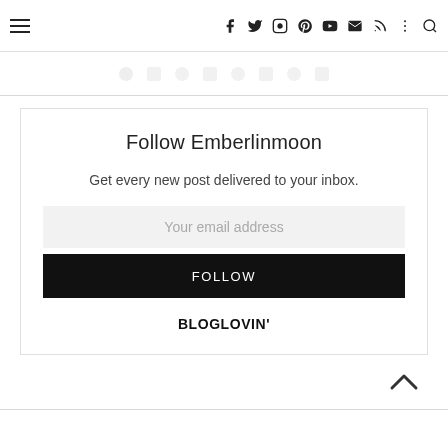Navigation header with hamburger menu and social icons (f, twitter, instagram, pinterest, youtube, email, rss, more, search)
Follow Emberlinmoon
Get every new post delivered to your inbox.
Your email address
FOLLOW
BLOGLOVIN'